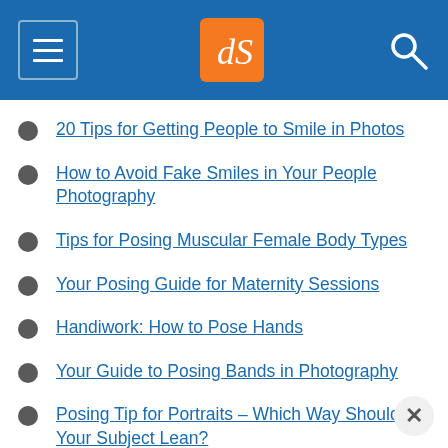[Figure (logo): Website header bar with hamburger menu icon on left, orange dPS logo in center, and search icon on right, on blue background]
20 Tips for Getting People to Smile in Photos
How to Avoid Fake Smiles in Your People Photography
Tips for Posing Muscular Female Body Types
Your Posing Guide for Maternity Sessions
Handiwork: How to Pose Hands
Your Guide to Posing Bands in Photography
Posing Tip for Portraits – Which Way Should Your Subject Lean?
Posing Tips – Waistlines, Thighs and Bustlines